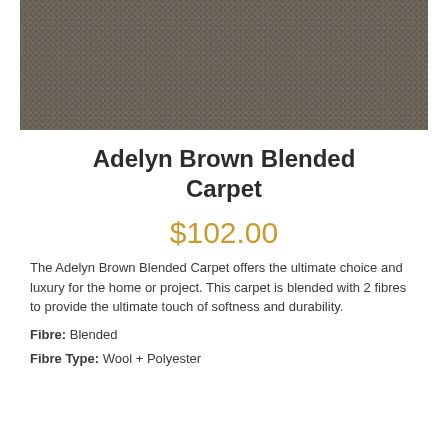[Figure (photo): Close-up texture photo of Adelyn Brown Blended Carpet showing dense brown/grey pile]
Adelyn Brown Blended Carpet
$102.00
The Adelyn Brown Blended Carpet offers the ultimate choice and luxury for the home or project. This carpet is blended with 2 fibres to provide the ultimate touch of softness and durability.
Fibre: Blended
Fibre Type: Wool + Polyester